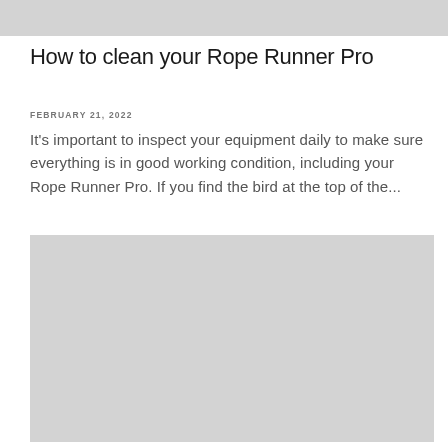[Figure (photo): Gray placeholder image at the top of the page]
How to clean your Rope Runner Pro
FEBRUARY 21, 2022
It’s important to inspect your equipment daily to make sure everything is in good working condition, including your Rope Runner Pro. If you find the bird at the top of the…
[Figure (photo): Gray placeholder image at the bottom of the page]